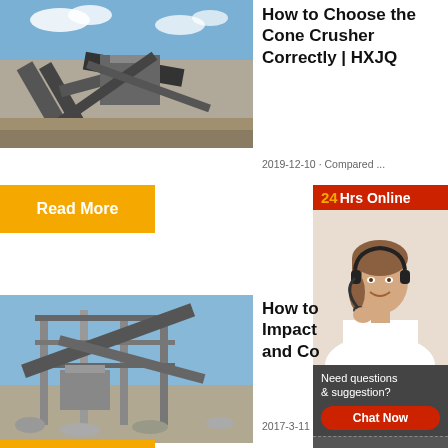[Figure (photo): Industrial cone crusher machine at a mining or quarrying site with blue sky background]
How to Choose the Cone Crusher Correctly | HXJQ
2019-12-10 · Compared ...
Read More
[Figure (photo): 24Hrs Online customer service representative with headset, smiling]
[Figure (photo): Industrial impact crusher / conveyor structure at quarry site with blue sky]
How to Impact and Co
2017-3-11
Need questions & suggestion?
Chat Now
Enquiry
limingjlmofen